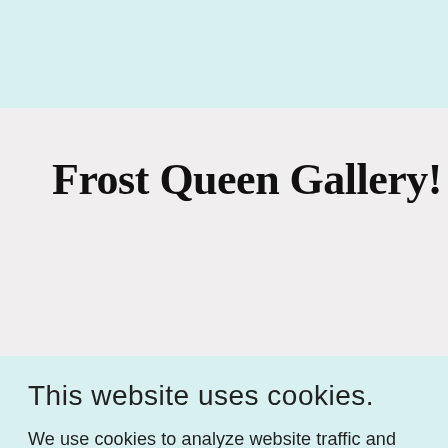Frost Queen Gallery!
This website uses cookies.
We use cookies to analyze website traffic and optimize your website experience. By accepting our use of cookies, your data will be aggregated with all other user